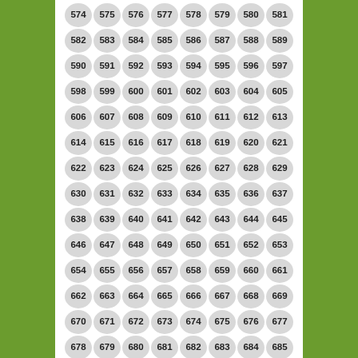[Figure (other): Grid of numbered circular stickers, numbers 574 through 685, arranged in 14 rows of 8 columns on a white background with green side margins.]